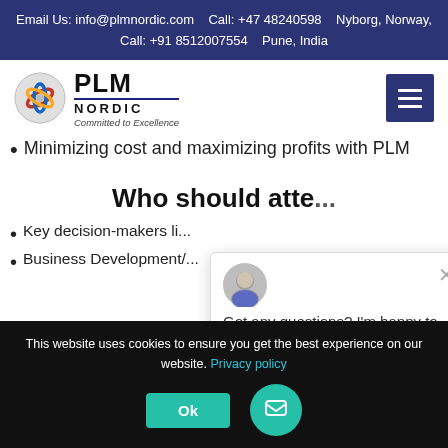Email Us: info@plmnordic.com   Call: +47 48240598   Nyborg, Norway,
Call: +91 8512007554   Pune, India
[Figure (logo): PLM Nordic logo with circular emblem and tagline 'Committed to Excellence']
Minimizing cost and maximizing profits with PLM
Who should atte...
Key decision-makers li...
Business Development/...
Got any questions? I'm happy to help.
This website uses cookies to ensure you get the best experience on our website. Privacy policy